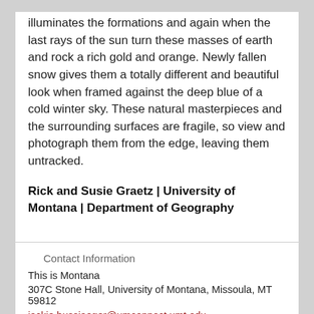illuminates the formations and again when the last rays of the sun turn these masses of earth and rock a rich gold and orange. Newly fallen snow gives them a totally different and beautiful look when framed against the deep blue of a cold winter sky. These natural masterpieces and the surrounding surfaces are fragile, so view and photograph them from the edge, leaving them untracked.
Rick and Susie Graetz | University of Montana | Department of Geography
Contact Information
This is Montana
307C Stone Hall, University of Montana, Missoula, MT 59812
jackie.bussjaeger@umconnect.umt.edu
Refer a Griz
About UM
Accessibility
Administration